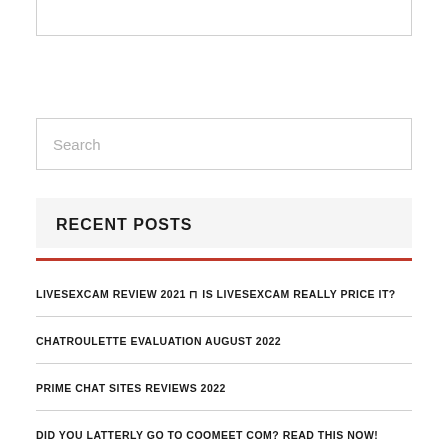Search
RECENT POSTS
LIVESEXCAM REVIEW 2021 ⊓ IS LIVESEXCAM REALLY PRICE IT?
CHATROULETTE EVALUATION AUGUST 2022
PRIME CHAT SITES REVIEWS 2022
DID YOU LATTERLY GO TO COOMEET COM? READ THIS NOW!
#1 CHATIW